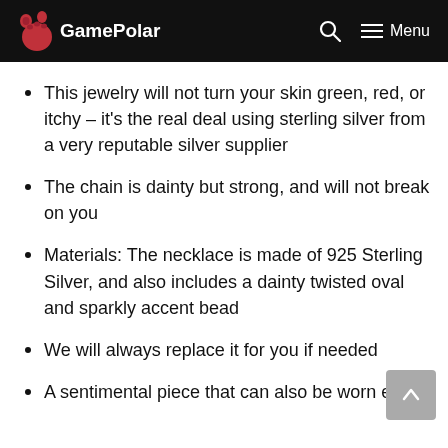GamePolar — Menu
This jewelry will not turn your skin green, red, or itchy – it's the real deal using sterling silver from a very reputable silver supplier
The chain is dainty but strong, and will not break on you
Materials: The necklace is made of 925 Sterling Silver, and also includes a dainty twisted oval and sparkly accent bead
We will always replace it for you if needed
A sentimental piece that can also be worn every